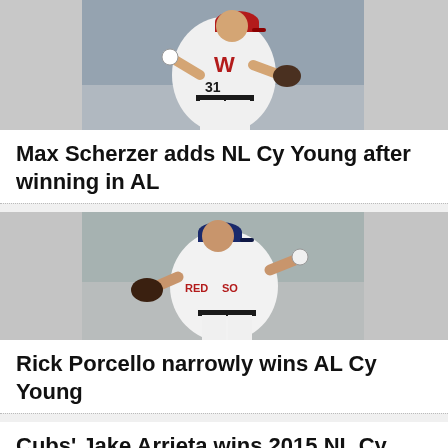[Figure (photo): Baseball pitcher in Washington Nationals white uniform with red cap, mid-throwing motion, number 31]
Max Scherzer adds NL Cy Young after winning in AL
[Figure (photo): Baseball pitcher in Boston Red Sox white uniform, mid-throwing motion, glove visible]
Rick Porcello narrowly wins AL Cy Young
Cubs' Jake Arrieta wins 2015 NL Cy Young